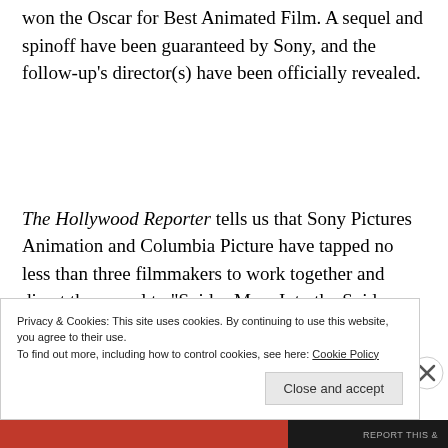won the Oscar for Best Animated Film. A sequel and spinoff have been guaranteed by Sony, and the follow-up's director(s) have been officially revealed.
The Hollywood Reporter tells us that Sony Pictures Animation and Columbia Picture have tapped no less than three filmmakers to work together and direct the sequel to “Spider-Man: Into the Spider-Verse.”
Privacy & Cookies: This site uses cookies. By continuing to use this website, you agree to their use.
To find out more, including how to control cookies, see here: Cookie Policy
Close and accept